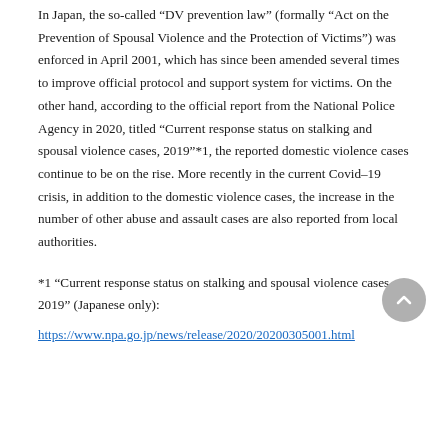In Japan, the so-called "DV prevention law" (formally "Act on the Prevention of Spousal Violence and the Protection of Victims") was enforced in April 2001, which has since been amended several times to improve official protocol and support system for victims. On the other hand, according to the official report from the National Police Agency in 2020, titled "Current response status on stalking and spousal violence cases, 2019"*1, the reported domestic violence cases continue to be on the rise. More recently in the current Covid-19 crisis, in addition to the domestic violence cases, the increase in the number of other abuse and assault cases are also reported from local authorities.
*1 "Current response status on stalking and spousal violence cases, 2019" (Japanese only):
https://www.npa.go.jp/news/release/2020/20200305001.html